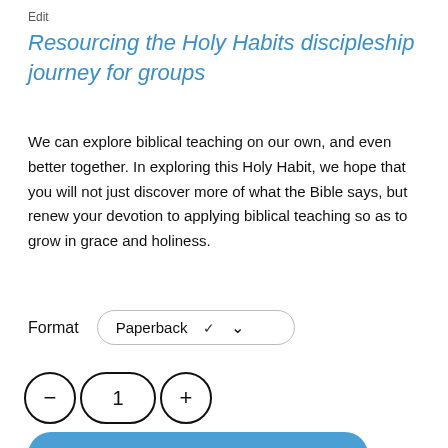Resourcing the Holy Habits discipleship journey for groups
We can explore biblical teaching on our own, and even better together. In exploring this Holy Habit, we hope that you will not just discover more of what the Bible says, but renew your devotion to applying biblical teaching so as to grow in grace and holiness.
Format   Paperback
- 1 +
Add to basket